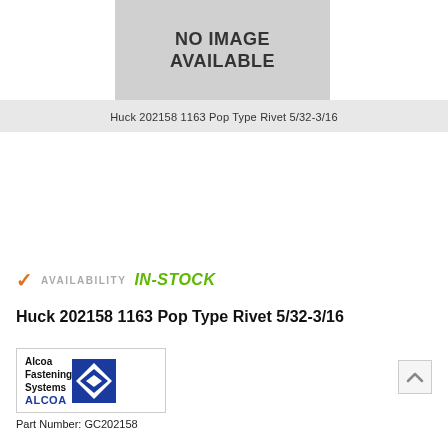[Figure (illustration): No image available placeholder box with gray background]
Huck 202158 1163 Pop Type Rivet 5/32-3/16
AVAILABILITY IN-STOCK
Huck 202158 1163 Pop Type Rivet 5/32-3/16
[Figure (logo): Alcoa Fastening Systems logo with blue diamond shape and ALCOA wordmark]
Part Number: GC202158